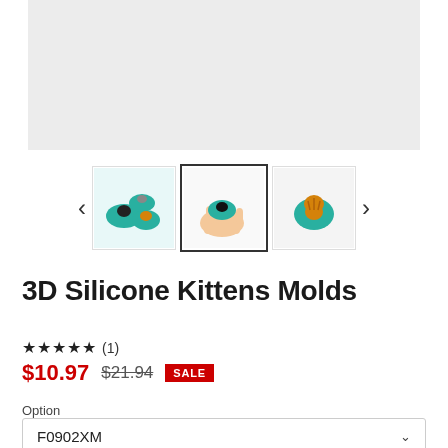[Figure (photo): Product image gallery showing silicone kitten molds. Three thumbnail images displayed: left shows multiple teal silicone molds with cat figurines, center (selected/highlighted) shows a hand holding a small teal mold with a black cat, right shows a single teal mold with an orange/striped kitten. Navigation arrows on both sides.]
3D Silicone Kittens Molds
★★★★★ (1)
$10.97  $21.94  SALE
Option
F0902XM